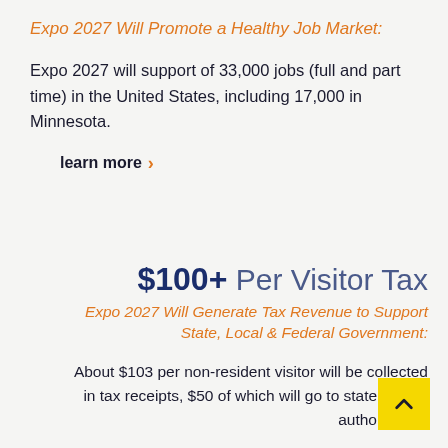Expo 2027 Will Promote a Healthy Job Market:
Expo 2027 will support of 33,000 jobs (full and part time) in the United States, including 17,000 in Minnesota.
learn more ›
$100+ Per Visitor Tax
Expo 2027 Will Generate Tax Revenue to Support State, Local & Federal Government:
About $103 per non-resident visitor will be collected in tax receipts, $50 of which will go to state & local authorities.
learn more ›